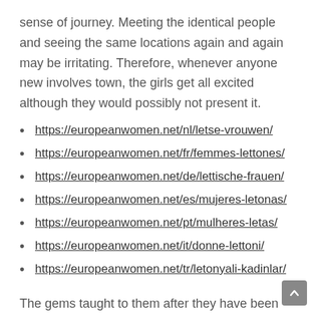sense of journey. Meeting the identical people and seeing the same locations again and again may be irritating. Therefore, whenever anyone new involves town, the girls get all excited although they would possibly not present it.
https://europeanwomen.net/nl/letse-vrouwen/
https://europeanwomen.net/fr/femmes-lettones/
https://europeanwomen.net/de/lettische-frauen/
https://europeanwomen.net/es/mujeres-letonas/
https://europeanwomen.net/pt/mulheres-letas/
https://europeanwomen.net/it/donne-lettoni/
https://europeanwomen.net/tr/letonyali-kadinlar/
The gems taught to them after they have been youngsters make them yearn for their children to move on the training and things they learned from their moms. Latvian girls are stunning and naturally endowed with slender our bodies, well-sculpted breasts, and blonde hair. Let us focus on a few other traits of the